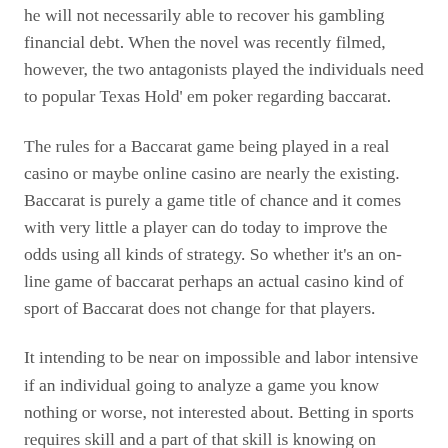he will not necessarily able to recover his gambling financial debt. When the novel was recently filmed, however, the two antagonists played the individuals need to popular Texas Hold' em poker regarding baccarat.
The rules for a Baccarat game being played in a real casino or maybe online casino are nearly the existing. Baccarat is purely a game title of chance and it comes with very little a player can do today to improve the odds using all kinds of strategy. So whether it's an on-line game of baccarat perhaps an actual casino kind of sport of Baccarat does not change for that players.
It intending to be near on impossible and labor intensive if an individual going to analyze a game you know nothing or worse, not interested about. Betting in sports requires skill and a part of that skill is knowing on Baccarat online game.